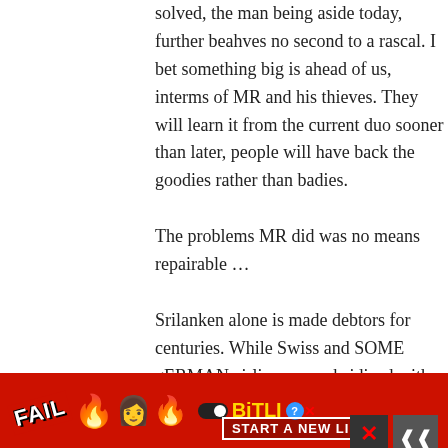solved, the man being aside today, further beahves no second to a rascal. I bet something big is ahead of us, interms of MR and his thieves. They will learn it from the current duo sooner than later, people will have back the goodies rather than badies.
The problems MR did was no means repairable …
Srilanken alone is made debtors for centuries. While Swiss and SOME gERMAN airlines are subsidized with other giant from ME countries, ours to keep as a white elephant wa…
[Figure (other): Advertisement banner for BitLife mobile game showing 'FAIL' text with cartoon character, flames, BitLife logo, and 'START A NEW LIFE' tagline on red background]